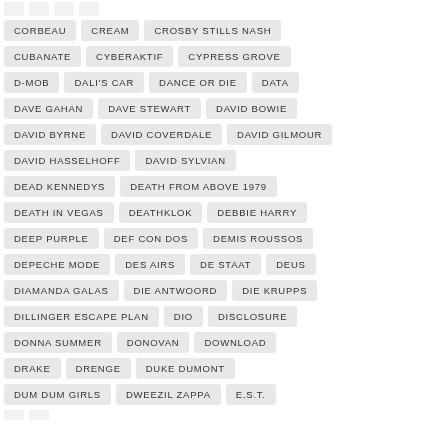CORBEAU
CREAM
CROSBY STILLS NASH
CUBANATE
CYBERAKTIF
CYPRESS GROVE
D-MOB
DALI'S CAR
DANCE OR DIE
DATA
DAVE GAHAN
DAVE STEWART
DAVID BOWIE
DAVID BYRNE
DAVID COVERDALE
DAVID GILMOUR
DAVID HASSELHOFF
DAVID SYLVIAN
DEAD KENNEDYS
DEATH FROM ABOVE 1979
DEATH IN VEGAS
DEATHKLOK
DEBBIE HARRY
DEEP PURPLE
DEF CON DOS
DEMIS ROUSSOS
DEPECHE MODE
DES AIRS
DE STAAT
DEUS
DIAMANDA GALAS
DIE ANTWOORD
DIE KRUPPS
DILLINGER ESCAPE PLAN
DIO
DISCLOSURE
DONNA SUMMER
DONOVAN
DOWNLOAD
DRAKE
DRENGE
DUKE DUMONT
DUM DUM GIRLS
DWEEZIL ZAPPA
E.S.T.